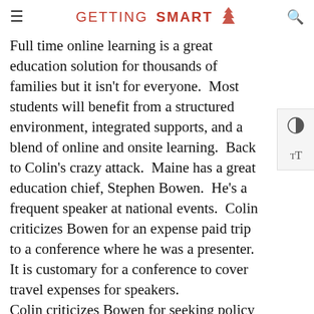GETTING SMART
Full time online learning is a great education solution for thousands of families but it isn't for everyone.  Most students will benefit from a structured environment, integrated supports, and a blend of online and onsite learning.  Back to Colin's crazy attack.  Maine has a great education chief, Stephen Bowen.  He's a frequent speaker at national events.  Colin criticizes Bowen for an expense paid trip to a conference where he was a presenter.  It is customary for a conference to cover travel expenses for speakers.
Colin criticizes Bowen for seeking policy advice from The Foundation for Excellence in Education, a group I've worked with for two